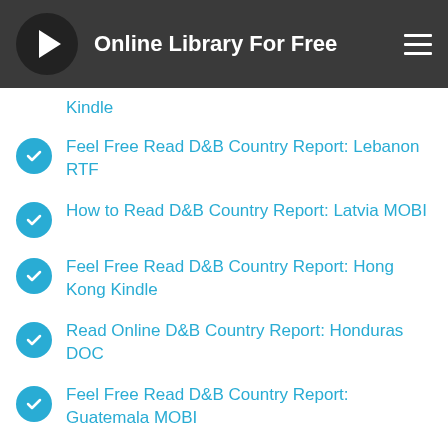Online Library For Free
Kindle
Feel Free Read D&B Country Report: Lebanon RTF
How to Read D&B Country Report: Latvia MOBI
Feel Free Read D&B Country Report: Hong Kong Kindle
Read Online D&B Country Report: Honduras DOC
Feel Free Read D&B Country Report: Guatemala MOBI